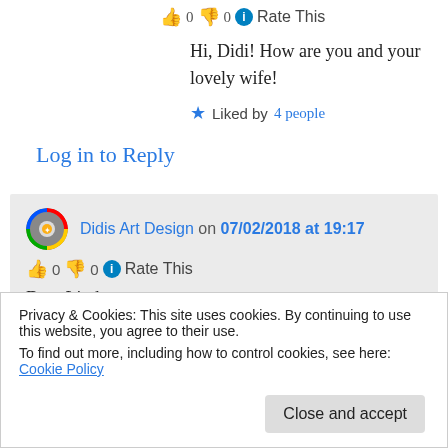👍 0 👎 0 ℹ Rate This
Hi, Didi! How are you and your lovely wife!
★ Liked by 4 people
Log in to Reply
Didis Art Design on 07/02/2018 at 19:17
👍 0 👎 0 ℹ Rate This
Dear Linda,
causing some troubles in my hand and with
Privacy & Cookies: This site uses cookies. By continuing to use this website, you agree to their use.
To find out more, including how to control cookies, see here: Cookie Policy